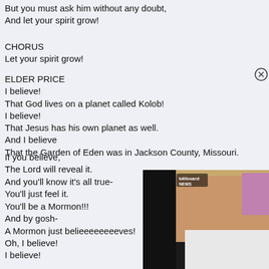But you must ask him without any doubt,
And let your spirit grow!
CHORUS
Let your spirit grow!
ELDER PRICE
I believe!
That God lives on a planet called Kolob!
I believe!
That Jesus has his own planet as well.
And I believe
That the Garden of Eden was in Jackson County, Missouri.
If you believe,
The Lord will reveal it.
And you'll know it's all true-
You'll just feel it.
You'll be a Mormon!!!
And by gosh-
A Mormon just belieeeeeeeeves!
Oh, I believe!
I believe!
[Figure (photo): A video overlay showing a man in a white shirt smiling, with a Billboard News logo in the top-left corner of the video thumbnail. A close/dismiss button (circled X) appears in the top-right corner of the overlay.]